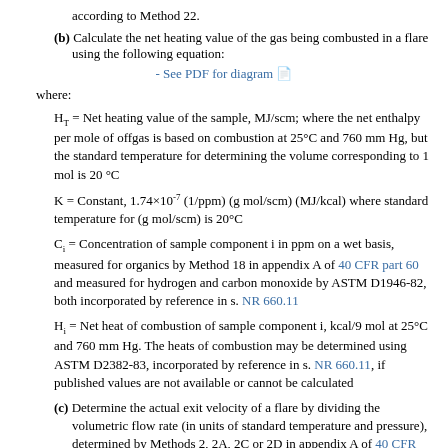according to Method 22.
(b) Calculate the net heating value of the gas being combusted in a flare using the following equation:
- See PDF for diagram
where:
H_T = Net heating value of the sample, MJ/scm; where the net enthalpy per mole of offgas is based on combustion at 25°C and 760 mm Hg, but the standard temperature for determining the volume corresponding to 1 mol is 20 °C
K = Constant, 1.74×10^-7 (1/ppm) (g mol/scm) (MJ/kcal) where standard temperature for (g mol/scm) is 20°C
C_i = Concentration of sample component i in ppm on a wet basis, measured for organics by Method 18 in appendix A of 40 CFR part 60 and measured for hydrogen and carbon monoxide by ASTM D1946-82, both incorporated by reference in s. NR 660.11
H_i = Net heat of combustion of sample component i, kcal/9 mol at 25°C and 760 mm Hg. The heats of combustion may be determined using ASTM D2382-83, incorporated by reference in s. NR 660.11, if published values are not available or cannot be calculated
(c) Determine the actual exit velocity of a flare by dividing the volumetric flow rate (in units of standard temperature and pressure), determined by Methods 2, 2A, 2C or 2D in appendix A of 40 CFR part 60, incorporated by reference in s. NR 660.11, as appropriate, by the unobstructed (free)